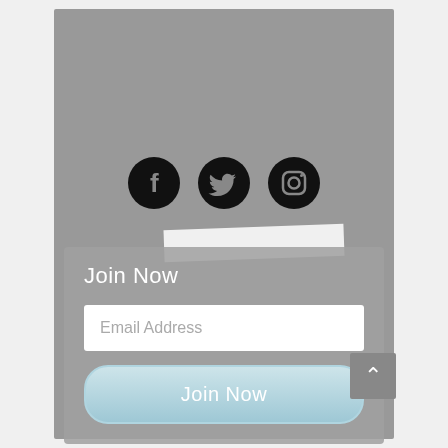[Figure (illustration): Social media icons: Facebook, Twitter, Instagram — black circles with white icons]
[Figure (other): White redacted/blurred bar over content]
Join Now
[Figure (other): Email Address input field (white rectangle with placeholder text)]
Email Address
[Figure (other): Join Now button with light blue gradient]
Join Now
[Figure (other): Back to top arrow button, dark grey square with upward chevron]